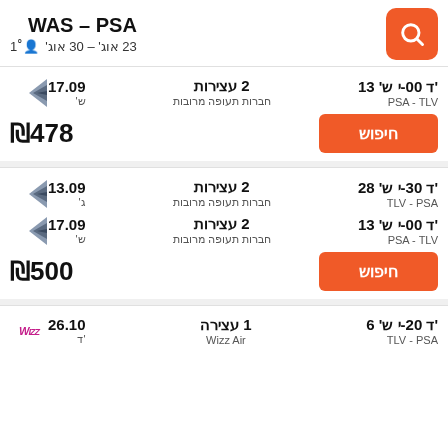WAS – PSA
23 אוג' – 30 אוג'  1 נוסע
17.09 ש'  2 עצירות  חברות תעופה מרובות  PSA - TLV  'ד 00-י ש' 13
₪478
13.09 ג'  2 עצירות  חברות תעופה מרובות  TLV - PSA  'ד 30-י ש' 28
17.09 ש'  2 עצירות  חברות תעופה מרובות  PSA - TLV  'ד 00-י ש' 13
₪500
26.10 ד'  1 עצירה  Wizz Air  TLV - PSA  'ד 20-י ש' 6